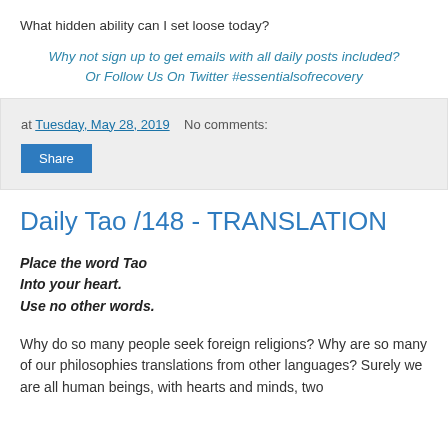What hidden ability can I set loose today?
Why not sign up to get emails with all daily posts included?
Or Follow Us On Twitter #essentialsofrecovery
at Tuesday, May 28, 2019   No comments:
Share
Daily Tao /148 - TRANSLATION
Place the word Tao
Into your heart.
Use no other words.
Why do so many people seek foreign religions? Why are so many of our philosophies translations from other languages? Surely we are all human beings, with hearts and minds, two